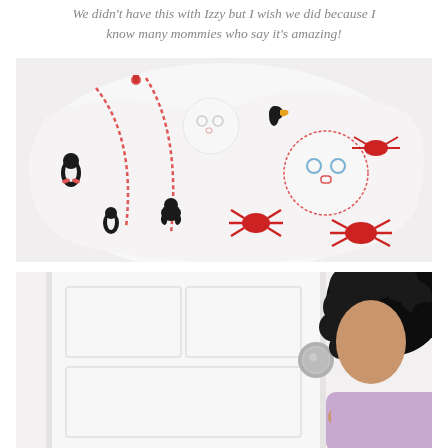We didn't have this with Izzy but I wish we did because I know many mommies who say it's amazing!
[Figure (photo): Close-up photo of a white baby swaddle/sleep sack with colorful animal print (penguins, crabs, toucans) and a cute bear face embroidery on a pocket. The garment lies on a white surface.]
[Figure (photo): Partial photo showing a white door with a silver round door knob and a person with curly black hair wearing a pink/lavender top, appearing to be a woman.]